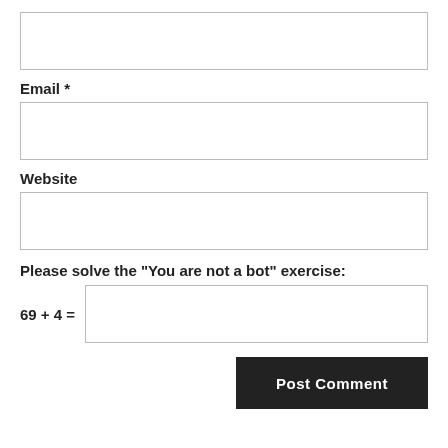Email *
Website
Please solve the "You are not a bot" exercise:
69 + 4 =
Post Comment